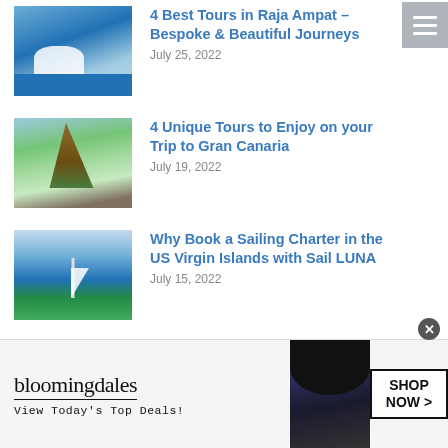4 Best Tours in Raja Ampat – Bespoke & Beautiful Journeys
July 25, 2022
[Figure (photo): Aerial view of tropical islands in Raja Ampat, Indonesia, with turquoise water and white sand]
4 Unique Tours to Enjoy on your Trip to Gran Canaria
July 19, 2022
[Figure (photo): Rock formation arch in Gran Canaria with green vegetation below]
Why Book a Sailing Charter in the US Virgin Islands with Sail LUNA
July 15, 2022
[Figure (photo): White catamaran sailing near green island hills in the US Virgin Islands]
[Figure (photo): Bloomingdale's advertisement banner with woman in large hat. Text: bloomingdales, View Today's Top Deals!, SHOP NOW >]